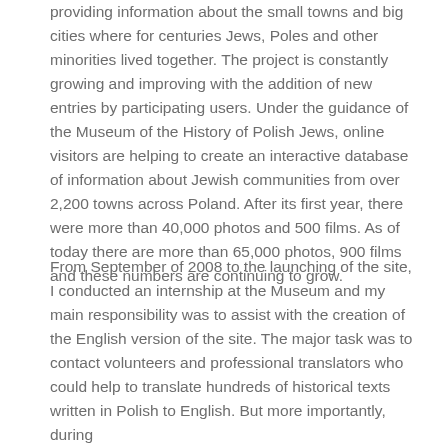providing information about the small towns and big cities where for centuries Jews, Poles and other minorities lived together. The project is constantly growing and improving with the addition of new entries by participating users. Under the guidance of the Museum of the History of Polish Jews, online visitors are helping to create an interactive database of information about Jewish communities from over 2,200 towns across Poland. After its first year, there were more than 40,000 photos and 500 films. As of today there are more than 65,000 photos, 900 films and these numbers are continuing to grow.
From September of 2008 to the launching of the site, I conducted an internship at the Museum and my main responsibility was to assist with the creation of the English version of the site. The major task was to contact volunteers and professional translators who could help to translate hundreds of historical texts written in Polish to English. But more importantly, during